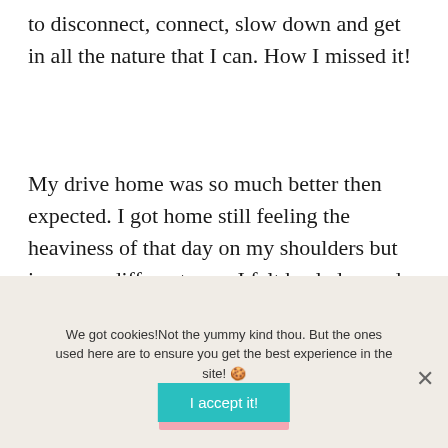to disconnect, connect, slow down and get in all the nature that I can. How I missed it!
My drive home was so much better then expected. I got home still feeling the heaviness of that day on my shoulders but in a very different way. I felt healed, cared, uplifted and willing to work things out.
Much more came from that experience –
We got cookies!​Not the yummy kind thou. But the ones used here are to ensure you get the best experience in the site! 🍪
I accept it!